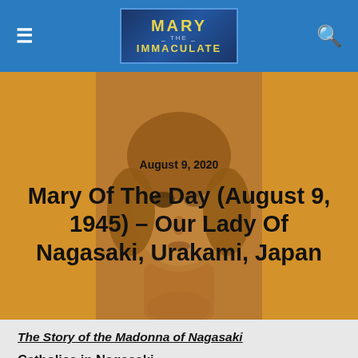Mary of the Immaculate — navigation bar with hamburger menu and search icon
[Figure (illustration): Hero image: statue of the Madonna of Nagasaki with golden/amber toned background and gold side panels. The figure appears as a stone or ceramic face and head sculpture.]
August 9, 2020
Mary Of The Day (August 9, 1945) – Our Lady Of Nagasaki, Urakami, Japan
The Story of the Madonna of Nagasaki
Catholics in Nagasaki
Shintoism and Buddhism are the majority religions of Japan. Catholicism arrived with Francis Xavier in 1549. This was the beginning of what is now known as Japan's